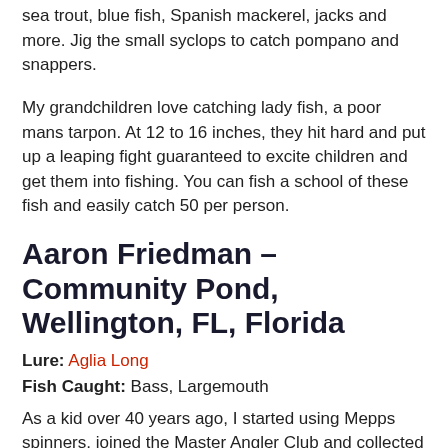sea trout, blue fish, Spanish mackerel, jacks and more. Jig the small syclops to catch pompano and snappers.
My grandchildren love catching lady fish, a poor mans tarpon. At 12 to 16 inches, they hit hard and put up a leaping fight guaranteed to excite children and get them into fishing. You can fish a school of these fish and easily catch 50 per person.
Aaron Friedman – Community Pond, Wellington, FL, Florida
Lure: Aglia Long
Fish Caught: Bass, Largemouth
As a kid over 40 years ago, I started using Mepps spinners, joined the Master Angler Club and collected